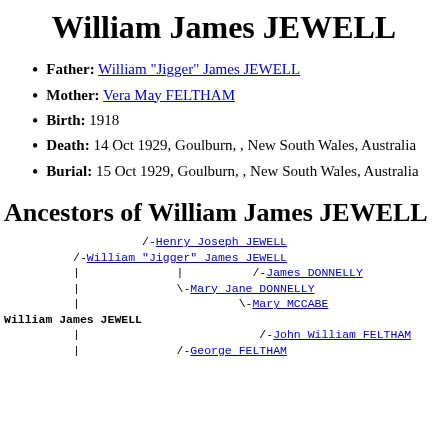William James JEWELL
Father: William "Jigger" James JEWELL
Mother: Vera May FELTHAM
Birth: 1918
Death: 14 Oct 1929, Goulburn, , New South Wales, Australia
Burial: 15 Oct 1929, Goulburn, , New South Wales, Australia
Ancestors of William James JEWELL
/-Henry Joseph JEWELL
/-William "Jigger" James JEWELL
|              | /-James DONNELLY
|              \-Mary Jane DONNELLY
|                       \-Mary MCCABE
William James JEWELL
|                          /-John William FELTHAM
|              /-George FELTHAM